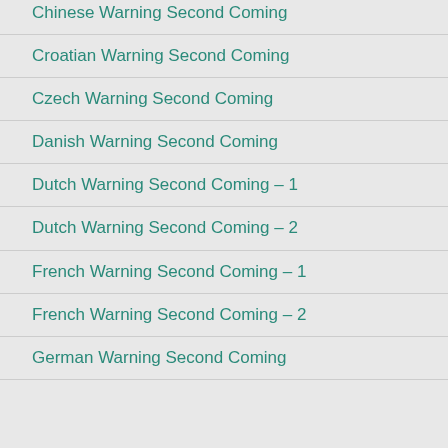Chinese Warning Second Coming
Croatian Warning Second Coming
Czech Warning Second Coming
Danish Warning Second Coming
Dutch Warning Second Coming – 1
Dutch Warning Second Coming – 2
French Warning Second Coming – 1
French Warning Second Coming – 2
German Warning Second Coming